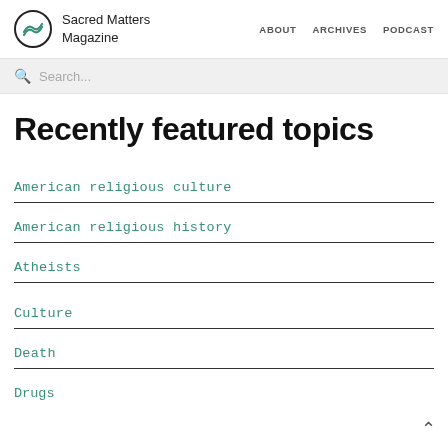Sacred Matters Magazine | ABOUT | ARCHIVES | PODCAST
Search...
Recently featured topics
American religious culture
American religious history
Atheists
Culture
Death
Drugs